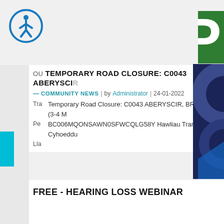[Figure (logo): Circular accessibility icon with white stick figure]
[Figure (logo): Green letter P logo, partially visible at top right]
TEMPORARY ROAD CLOSURE: C0043 ABERYSCIR...
COMMUNITY NEWS | by Administrator | 24-01-2022
Temporary Road Closure: C0043 ABERYSCIR, BRECON (3-4 M... BC006MQONSAWN0SFWCQLG58Y Hawliau Tramwy Cyhoeddu... Ll...
[Figure (illustration): Dark blue decorative panel with abstract shapes, partially visible at bottom right]
FREE - HEARING LOSS WEBINAR